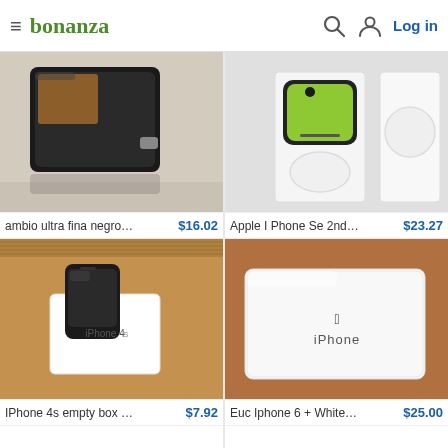bonanza  Log in
[Figure (photo): Black leather wallet/phone case flip style on white background]
ambio ultra fina negro para ...   $16.02
[Figure (photo): Apple iPhone SE 2nd generation in box, showing phone and box from above]
Apple I Phone Se 2nd Gen...   $23.27
[Figure (photo): iPhone 4S empty box 16gb on cardboard background]
IPhone 4s empty box 16gb ...   $7.92
[Figure (photo): White iPhone box on brown table surface showing Apple logo and iPhone text]
Euc Iphone 6 + White Card...   $25.00